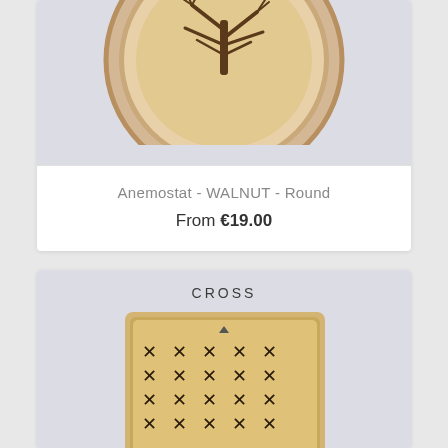[Figure (photo): Top portion of a round wooden anemostat (walnut) vent cover with a tree design, on a light purple/grey background. Part of a product card for 'Anemostat - WALNUT - Round'.]
Anemostat - WALNUT - Round
From €19.00
[Figure (photo): Square wooden anemostat with cross/X pattern cutouts arranged in a grid, on a light purple/grey background. Label 'CROSS' appears above the vent. Part of a product listing card.]